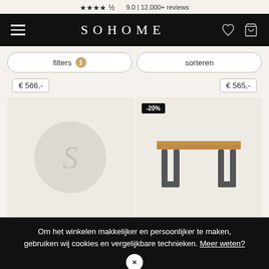★★★★½ 9.0 | 12.000+ reviews
SOHOME
filters 1
sorteren
€ 566,-
€ 565,-
[Figure (logo): SOHOME logo placeholder with stylized S on grey circle background]
[Figure (photo): Wooden dining table with dark metal U-shaped legs, -20% discount badge]
Om het winkelen makkelijker en persoonlijker te maken, gebruiken wij cookies en vergelijkbare technieken. Meer weten?